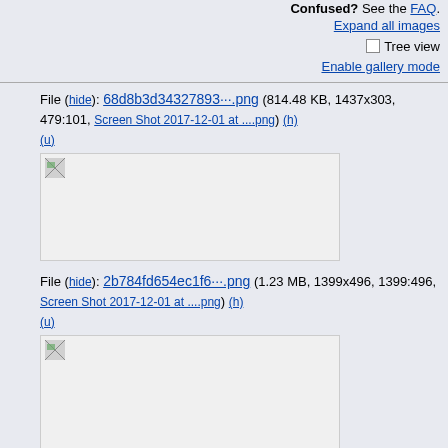Confused? See the FAQ.
Expand all images
Tree view
Enable gallery mode
File (hide): 68d8b3d34327893···.png (814.48 KB, 1437x303, 479:101, Screen Shot 2017-12-01 at ....png) (h) (u)
[Figure (screenshot): Placeholder image box for first file entry]
File (hide): 2b784fd654ec1f6···.png (1.23 MB, 1399x496, 1399:496, Screen Shot 2017-12-01 at ....png) (h) (u)
[Figure (screenshot): Placeholder image box for second file entry]
File (hide): 841d3c485dfef5c···.png (1.66 MB, 1291x683, 1291:683, Screen Shot 2017-12-01 at ....png) (h) (u)
[Figure (screenshot): Placeholder image box for third file entry]